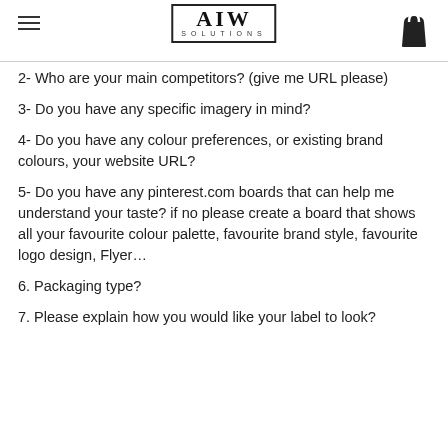AIW SOLUTIONS
2- Who are your main competitors? (give me URL please)
3- Do you have any specific imagery in mind?
4- Do you have any colour preferences, or existing brand colours, your website URL?
5- Do you have any pinterest.com boards that can help me understand your taste? if no please create a board that shows all your favourite colour palette, favourite brand style, favourite logo design, Flyer…
6. Packaging type?
7. Please explain how you would like your label to look?